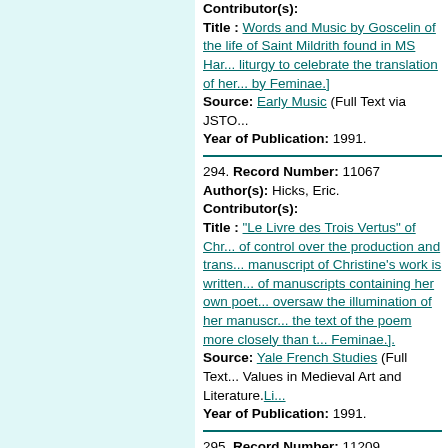Contributor(s):
Title : Words and Music by Goscelin of the life of Saint Mildrith found in MS Har... liturgy to celebrate the translation of her... by Feminae.]
Source: Early Music (Full Text via JSTO...
Year of Publication: 1991.
294. Record Number: 11067
Author(s): Hicks, Eric.
Contributor(s):
Title : "Le Livre des Trois Vertus" of Chr... of control over the production and trans... manuscript of Christine's work is written... of manuscripts containing her own poet... oversaw the illumination of her manuscr... the text of the poem more closely than t... Feminae.].
Source: Yale French Studies (Full Text... Values in Medieval Art and Literature. Li...
Year of Publication: 1991.
295. Record Number: 11209
Author(s): McNamer, Sarah
Contributor(s):
Title : Female Authors, Provincial Setti... article includes an appendix with transc... Title note supplied by Feminae.]